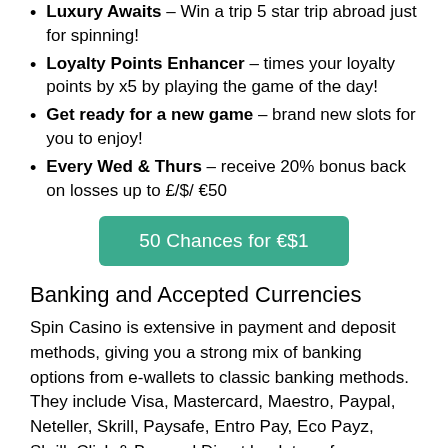Luxury Awaits – Win a trip 5 star trip abroad just for spinning!
Loyalty Points Enhancer – times your loyalty points by x5 by playing the game of the day!
Get ready for a new game – brand new slots for you to enjoy!
Every Wed & Thurs – receive 20% bonus back on losses up to £/$/ €50
50 Chances for €$1
Banking and Accepted Currencies
Spin Casino is extensive in payment and deposit methods, giving you a strong mix of banking options from e-wallets to classic banking methods. They include Visa, Mastercard, Maestro, Paypal, Neteller, Skrill, Paysafe, Entro Pay, Eco Payz, Skrill, Click & Buy and Direct bank transfer.
You can deposit and withdraw using Great British Pound,